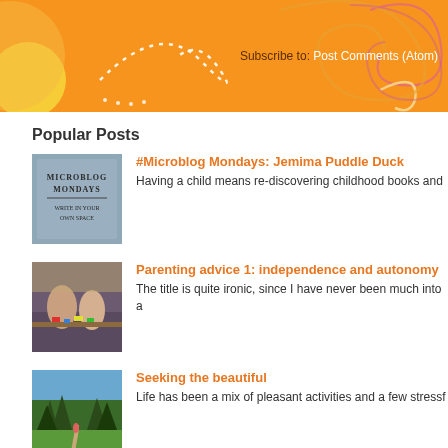[Figure (illustration): Orange decorative blog banner with swirl patterns and white dotted spiral. Contains Subscribe to: Post Comments (Atom) link text.]
Subscribe to: Post Comments (Atom)
Popular Posts
[Figure (photo): Microblog Mondays book cover thumbnail - grey/blue background with text 'Microblog Mondays - Write in your own space']
#Microblog Mondays: Jemima Puddle Duck
Having a child means re-discovering childhood books and
[Figure (photo): Photo of children playing with puzzle pieces on a table]
Parenting advice 1: independence and autonomy
The title is quite ironic, since I have never been much into a
[Figure (photo): Photo of a hiking trail through trees with a person in the distance]
Seeking the beautiful
Life has been a mix of pleasant activities and a few stressf